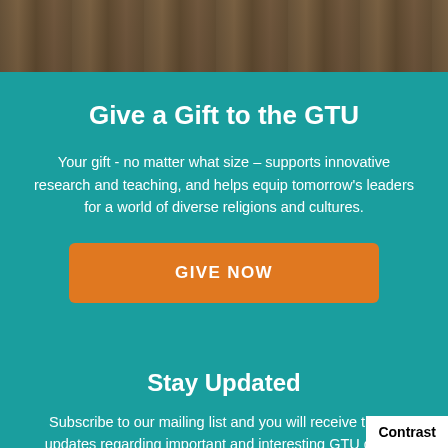[Figure (photo): Background photo of chairs/library seating area, shown as a strip at the top of the page]
Give a Gift to the GTU
Your gift - no matter what size – supports innovative research and teaching, and helps equip tomorrow's leaders for a world of diverse religions and cultures.
GIVE NOW
Stay Updated
Subscribe to our mailing list and you will receive timely updates regarding important and interesting GTU dates, events, and other important information.
Contrast